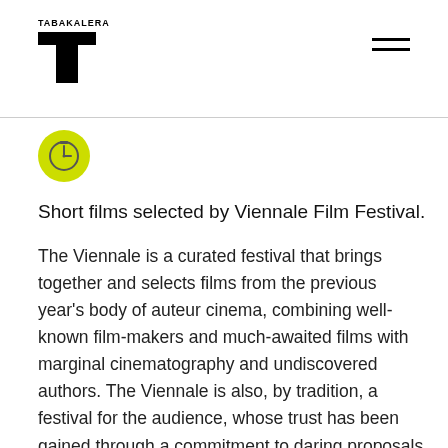TABAKALERA
[Figure (logo): Yellow-green circular icon with a clock/timer symbol inside]
Short films selected by Viennale Film Festival.
The Viennale is a curated festival that brings together and selects films from the previous year's body of auteur cinema, combining well-known film-makers and much-awaited films with marginal cinematography and undiscovered authors. The Viennale is also, by tradition, a festival for the audience, whose trust has been gained through a commitment to daring proposals and a vision of continuity that sustains its programming. The selected films reflect on and discuss the formal elements of film language and celebrate cinema as cultural and authorial expression. The Viennale is also a